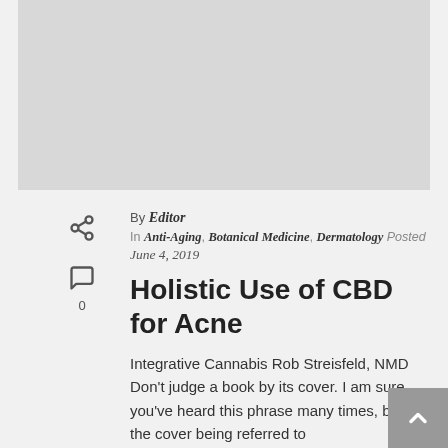[Figure (photo): Gray placeholder image at the top of the article page]
By Editor
In Anti-Aging, Botanical Medicine, Dermatology Posted
June 4, 2019
Holistic Use of CBD for Acne
Integrative Cannabis Rob Streisfeld, NMD Don't judge a book by its cover. I am sure you've heard this phrase many times, but if the cover being referred to